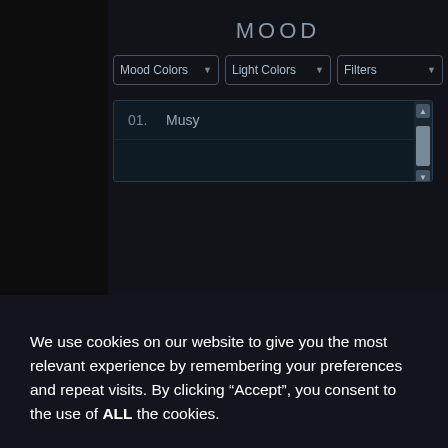MOOD
Mood Colors
Light Colors
Filters
01.    Musy
We use cookies on our website to give you the most relevant experience by remembering your preferences and repeat visits. By clicking “Accept”, you consent to the use of ALL the cookies.
Cookie settings
REJECT
ACCEPT
08.    Epic
09.    Judy
10.    Never